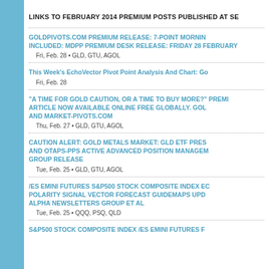LINKS TO FEBRUARY 2014 PREMIUM POSTS PUBLISHED AT SE...
GOLDPIVOTS.COM PREMIUM RELEASE: 7-POINT MORNING... Included: MDPP Premium Desk Release: Friday 28 February...
Fri, Feb. 28 • GLD, GTU, AGOL
This Week's EchoVector Pivot Point Analysis And Chart: Go...
Fri, Feb. 28
"A Time For Gold Caution, Or A Time To Buy More?" PREMI... ARTICLE NOW AVAILABLE ONLINE FREE GLOBALLY. GOL... AND MARKET-PIVOTS.COM
Thu, Feb. 27 • GLD, GTU, AGOL
CAUTION ALERT: GOLD METALS MARKET: GLD ETF PRES... AND OTAPS-PPS ACTIVE ADVANCED POSITION MANAGEM... GROUP RELEASE
Tue, Feb. 25 • GLD, GTU, AGOL
/ES EMINI FUTURES S&P500 STOCK COMPOSITE INDEX EC... POLARITY SIGNAL VECTOR FORECAST GUIDEMAPS UPD... ALPHA NEWSLETTERS GROUP ET AL
Tue, Feb. 25 • QQQ, PSQ, QLD
S&P500 STOCK COMPOSITE INDEX /ES EMINI FUTURES F...